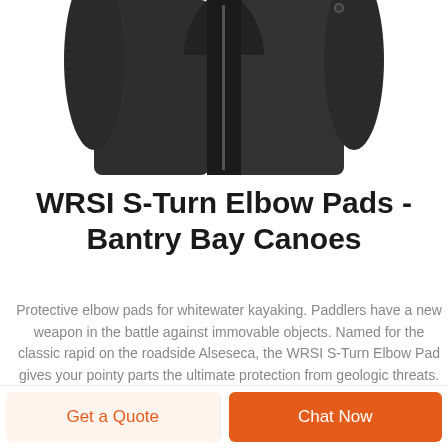[Figure (photo): Partial view of a dark grey/black zip-up jacket, showing the collar and zipper area, cropped at the top of the page.]
WRSI S-Turn Elbow Pads - Bantry Bay Canoes
Protective elbow pads for whitewater kayaking. Paddlers have a new weapon in the battle against immovable objects. Named for the classic rapid on the roadside Alseseca, the WRSI S-Turn Elbow Pad gives your pointy parts the ultimate protection from geologic threats.
LEARN MORE
Get a Quote
Chat Now